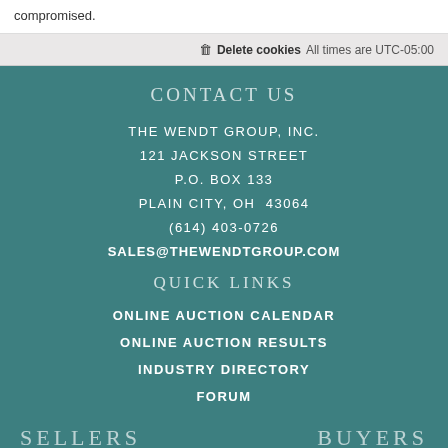compromised.
Delete cookies   All times are UTC-05:00
CONTACT US
THE WENDT GROUP, INC.
121 JACKSON STREET
P.O. BOX 133
PLAIN CITY, OH  43064
(614) 403-0726
SALES@THEWENDTGROUP.COM
QUICK LINKS
ONLINE AUCTION CALENDAR
ONLINE AUCTION RESULTS
INDUSTRY DIRECTORY
FORUM
SELLERS
BUYERS